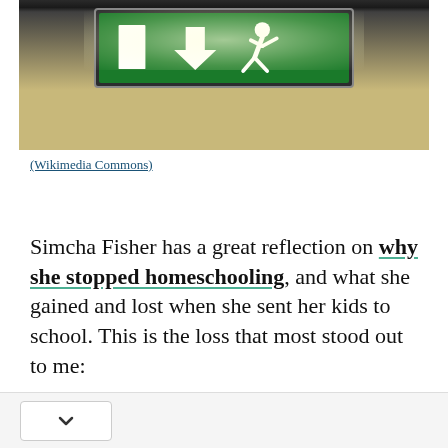[Figure (photo): A glowing green emergency exit sign mounted on a ceiling. The sign has a white arrow pointing down and a running figure icon on a green background. The sign is illuminated and casts light on the ceiling above.]
(Wikimedia Commons)
Simcha Fisher has a great reflection on why she stopped homeschooling, and what she gained and lost when she sent her kids to school.  This is the loss that most stood out to me: